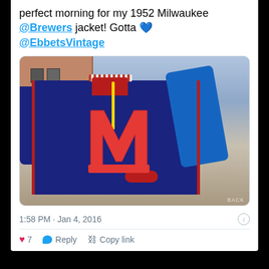perfect morning for my 1952 Milwaukee @Brewers jacket! Gotta 💙 @EbbetsVintage
[Figure (photo): Person wearing a navy blue 1952 Milwaukee Brewers varsity jacket with a red M letter on the chest, standing on a city street with brownstone buildings in the background.]
1:58 PM · Jan 4, 2016
7  Reply  Copy link